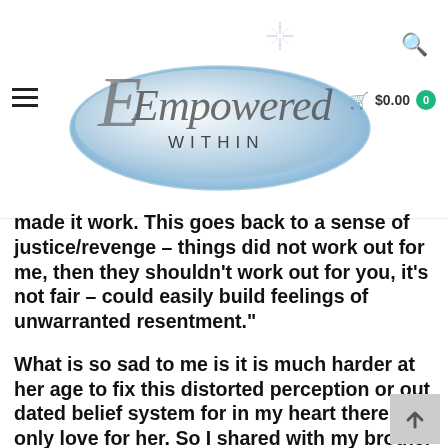Empowered Within — navigation header with logo, hamburger menu, search icon, and cart showing $0.00
made it work. This goes back to a sense of justice/revenge – things did not work out for me, then they shouldn't work out for you, it's not fair – could easily build feelings of unwarranted resentment."
What is so sad to me is it is much harder at her age to fix this distorted perception or out dated belief system for in my heart there is only love for her. So I shared with my brother that all I can do is forgive her and love her each and every time she manifests a false negative memory about our relationship. And